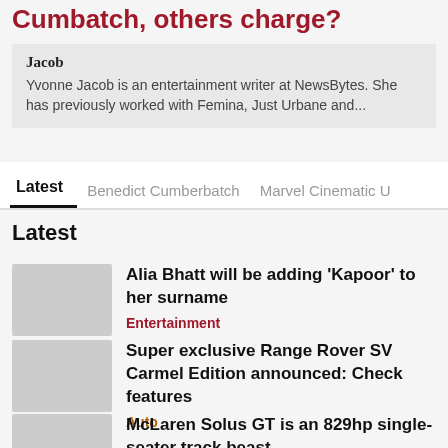Cumbatch, others charge?
Jacob
Yvonne Jacob is an entertainment writer at NewsBytes. She has previously worked with Femina, Just Urbane and...
Latest | Benedict Cumberbatch | Marvel Cinematic U
Latest
Alia Bhatt will be adding 'Kapoor' to her surname
Entertainment
Super exclusive Range Rover SV Carmel Edition announced: Check features
Auto
McLaren Solus GT is an 829hp single-seater track beast
Auto